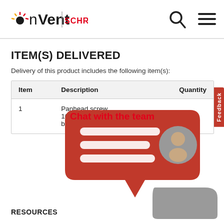nVent | SCHROFF
ITEM(S) DELIVERED
Delivery of this product includes the following item(s):
| Item | Description | Quantity |
| --- | --- | --- |
| 1 | Panhead screw, 16, St, zinc-plated, black |  |
[Figure (illustration): Chat with the team overlay widget showing red speech bubble with chat lines and person avatar, plus gray speech bubble below]
RESOURCES